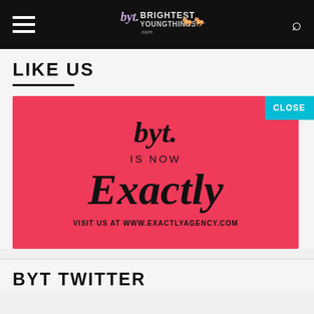byt. BRIGHTEST YOUNG THINGS
LIKE US
[Figure (advertisement): Pink/red advertisement banner reading 'byt. IS NOW Exactly VISIT US AT WWW.EXACTLYAGENCY.COM' with a cyan CLOSE button overlay]
BYT TWITTER